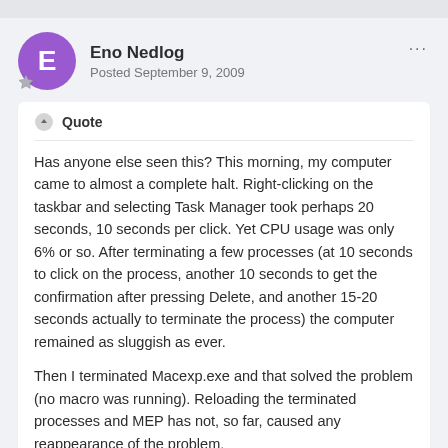Eno Nedlog
Posted September 9, 2009
Quote
Has anyone else seen this? This morning, my computer came to almost a complete halt. Right-clicking on the taskbar and selecting Task Manager took perhaps 20 seconds, 10 seconds per click. Yet CPU usage was only 6% or so. After terminating a few processes (at 10 seconds to click on the process, another 10 seconds to get the confirmation after pressing Delete, and another 15-20 seconds actually to terminate the process) the computer remained as sluggish as ever.
Then I terminated Macexp.exe and that solved the problem (no macro was running). Reloading the terminated processes and MEP has not, so far, caused any reappearance of the problem.